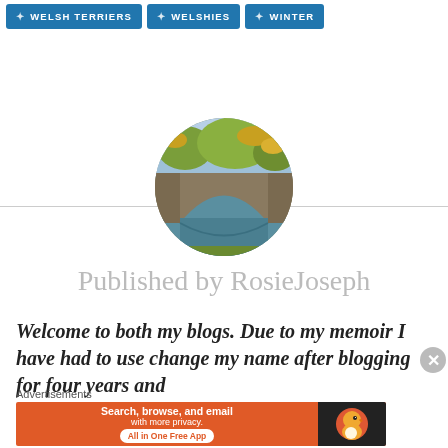WELSH TERRIERS
WELSHIES
WINTER
[Figure (photo): Circular avatar image of a stone arch bridge with green vegetation, reflected in water below.]
Published by RosieJoseph
Welcome to both my blogs. Due to my memoir I have had to use change my name after blogging for four years and
Advertisements
[Figure (screenshot): DuckDuckGo advertisement banner: 'Search, browse, and email with more privacy. All in One Free App' with DuckDuckGo duck logo on dark background.]